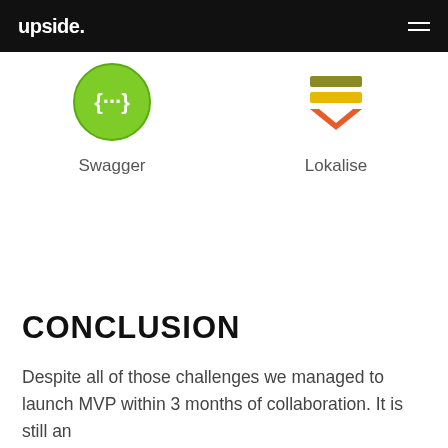upside.
[Figure (logo): Swagger logo: green circle with curly braces and dots inside]
Swagger
[Figure (logo): Lokalise logo: three horizontal lines in olive, yellow, and orange-red with a downward chevron]
Lokalise
CONCLUSION
Despite all of those challenges we managed to launch MVP within 3 months of collaboration. It is still an